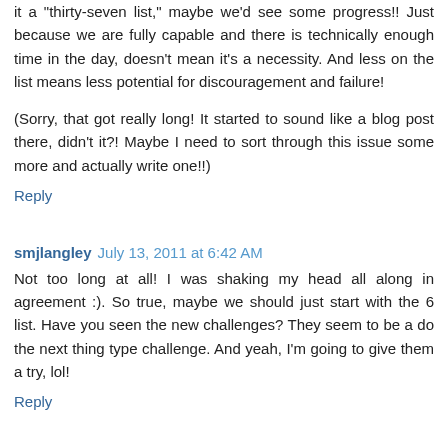it a "thirty-seven list," maybe we'd see some progress!! Just because we are fully capable and there is technically enough time in the day, doesn't mean it's a necessity. And less on the list means less potential for discouragement and failure!
(Sorry, that got really long! It started to sound like a blog post there, didn't it?! Maybe I need to sort through this issue some more and actually write one!!)
Reply
smjlangley  July 13, 2011 at 6:42 AM
Not too long at all! I was shaking my head all along in agreement :). So true, maybe we should just start with the 6 list. Have you seen the new challenges? They seem to be a do the next thing type challenge. And yeah, I'm going to give them a try, lol!
Reply
To leave a comment, click the button below to sign in with Google.